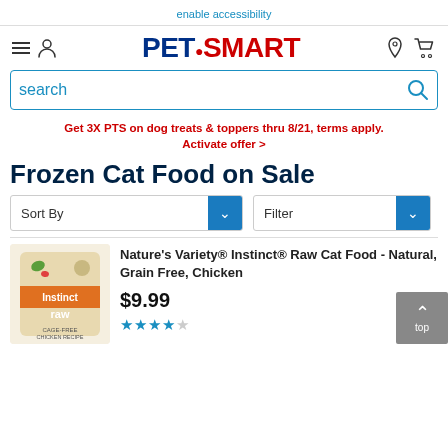enable accessibility
[Figure (logo): PetSmart logo with hamburger menu and user icon on left, location and cart icons on right]
search
Get 3X PTS on dog treats & toppers thru 8/21, terms apply. Activate offer >
Frozen Cat Food on Sale
Sort By
Filter
Nature's Variety® Instinct® Raw Cat Food - Natural, Grain Free, Chicken
$9.99